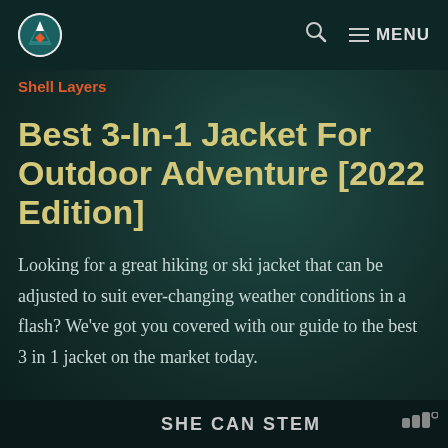Shell Layers | Best 3-In-1 Jacket For Outdoor Adventure [2022 Edition] — Navigation: Search, Menu
Shell Layers
Best 3-In-1 Jacket For Outdoor Adventure [2022 Edition]
Looking for a great hiking or ski jacket that can be adjusted to suit ever-changing weather conditions in a flash? We've got you covered with our guide to the best 3 in 1 jacket on the market today.
SHE CAN STEM